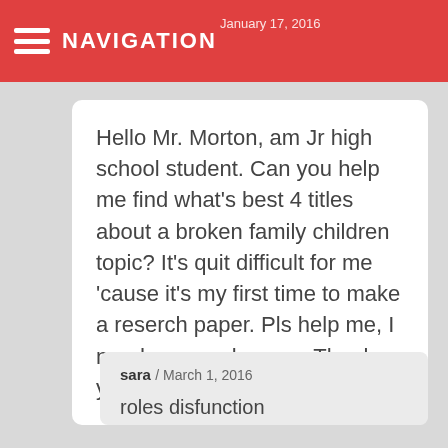NAVIGATION / January 17, 2016
Hello Mr. Morton, am Jr high school student. Can you help me find what's best 4 titles about a broken family children topic? It's quit difficult for me 'cause it's my first time to make a reserch paper. Pls help me, I need your reply asap. Thank you so much Mr. Morton.
sara / March 1, 2016
roles disfunction